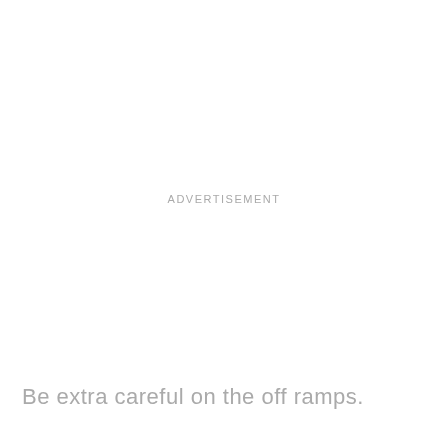ADVERTISEMENT
Be extra careful on the off ramps.